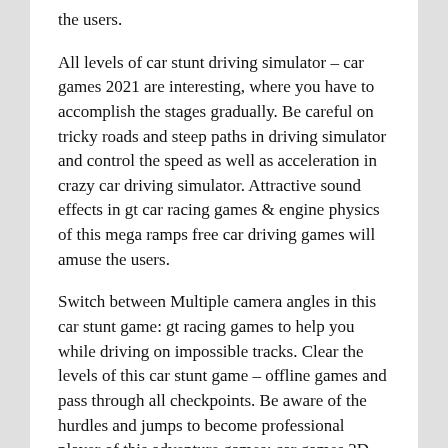the users.
All levels of car stunt driving simulator – car games 2021 are interesting, where you have to accomplish the stages gradually. Be careful on tricky roads and steep paths in driving simulator and control the speed as well as acceleration in crazy car driving simulator. Attractive sound effects in gt car racing games & engine physics of this mega ramps free car driving games will amuse the users.
Switch between Multiple camera angles in this car stunt game: gt racing games to help you while driving on impossible tracks. Clear the levels of this car stunt game – offline games and pass through all checkpoints. Be aware of the hurdles and jumps to become professional player of this adventure games: car games 3D.
Download crazy car stunts: ultimate racing games and enjoy with different gt racing cars on impossible mega ramps.